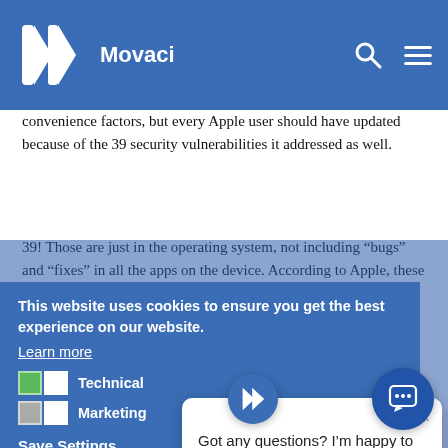Movaci
convenience factors, but every Apple user should have updated because of the 39 security vulnerabilities it addressed as well.
39! Those are just in the operating system, not including “bugs” and “fixes” in all the apps on the device. According to Apple, these vulnerabilities had not been exploited yet, but it’s still a reminder that we carry vulnerabilities with us wherever we go on the devices that whole wo... keep... up to malicious actors to expl... updated yet, say this alo... phone: “Hey Siri, remind... to update iOS to night at 9pm”.)
This website uses cookies to ensure you get the best experience on our website.
Learn more
Technical
Marketing
Save Settings
Got any questions? I’m happy to help.
Allow